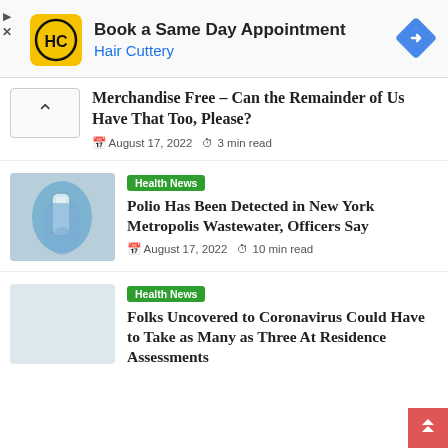[Figure (infographic): Hair Cuttery advertisement banner with yellow logo showing HC letters, text 'Book a Same Day Appointment' and 'Hair Cuttery', and a blue diamond navigation icon on the right. Play and close controls on left.]
Merchandise Free – Can the Remainder of Us Have That Too, Please?
August 17, 2022   3 min read
Health News
[Figure (photo): Close-up photo of gloved hands holding a medical vial or test tube, blue gloves visible.]
Polio Has Been Detected in New York Metropolis Wastewater, Officers Say
August 17, 2022   10 min read
Health News
Folks Uncovered to Coronavirus Could Have to Take as Many as Three At Residence Assessments